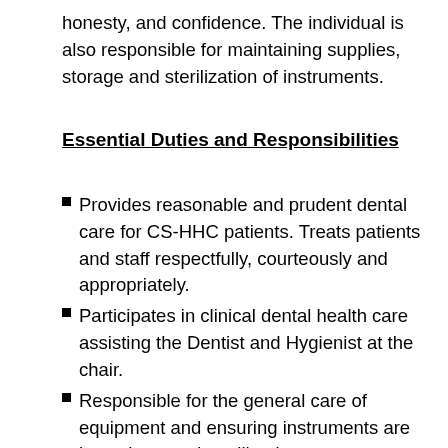honesty, and confidence. The individual is also responsible for maintaining supplies, storage and sterilization of instruments.
Essential Duties and Responsibilities
Provides reasonable and prudent dental care for CS-HHC patients. Treats patients and staff respectfully, courteously and appropriately.
Participates in clinical dental health care assisting the Dentist and Hygienist at the chair.
Responsible for the general care of equipment and ensuring instruments are kept sharp and sterilized.
Escorts patients to and from reception